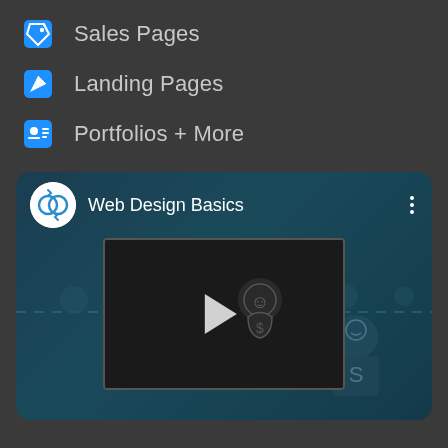Sales Pages
Landing Pages
Portfolios + More
[Figure (screenshot): Video card for 'Web Design Basics' showing a video thumbnail with a play button on a monitor illustration, with a channel logo and three-dot menu. Dark teal background with dashed lines and person/dollar icons in the background.]